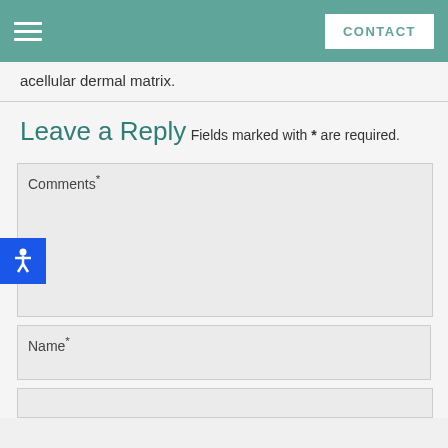CONTACT
acellular dermal matrix.
Leave a Reply
Fields marked with * are required.
Comments*
Name*